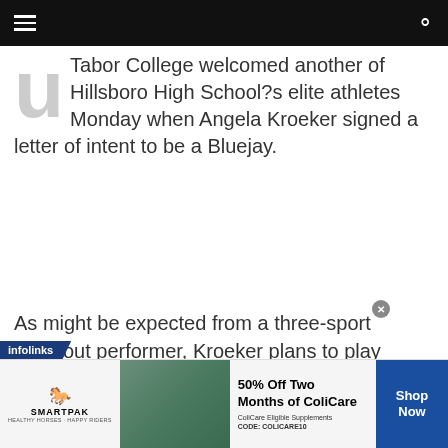navigation bar with hamburger menu and search icon
Tabor College welcomed another of Hillsboro High School?s elite athletes Monday when Angela Kroeker signed a letter of intent to be a Bluejay.
As might be expected from a three-sport standout performer, Kroeker plans to play volleyball, basketball and participate in track for the Bluejays.
[Figure (infographic): infolinks ad banner with SmartPak logo, horse image, and ColiCare promotion: 50% Off Two Months of ColiCare, ColiCare Eligible Supplements, CODE: COLICARE10, Shop Now button]